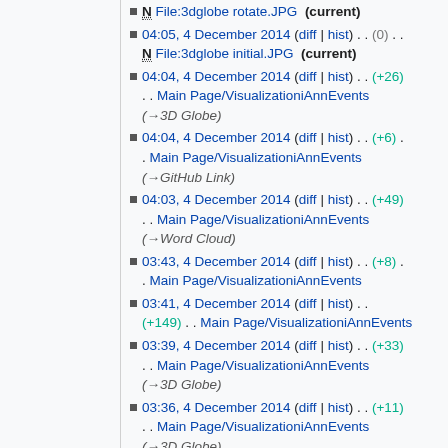N File:3dglobe rotate.JPG (current)
04:05, 4 December 2014 (diff | hist) . . (0) . . N File:3dglobe initial.JPG (current)
04:04, 4 December 2014 (diff | hist) . . (+26) . . Main Page/VisualizationiAnnEvents (→3D Globe)
04:04, 4 December 2014 (diff | hist) . . (+6) . . Main Page/VisualizationiAnnEvents (→GitHub Link)
04:03, 4 December 2014 (diff | hist) . . (+49) . . Main Page/VisualizationiAnnEvents (→Word Cloud)
03:43, 4 December 2014 (diff | hist) . . (+8) . . Main Page/VisualizationiAnnEvents
03:41, 4 December 2014 (diff | hist) . . (+149) . . Main Page/VisualizationiAnnEvents
03:39, 4 December 2014 (diff | hist) . . (+33) . . Main Page/VisualizationiAnnEvents (→3D Globe)
03:36, 4 December 2014 (diff | hist) . . (+11) . . Main Page/VisualizationiAnnEvents (→3D Globe)